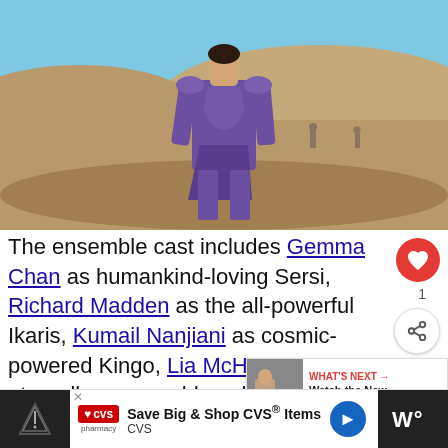[Figure (photo): A man in a purple superhero costume walking through a desert landscape with sandy hills and blue sky background. Other figures visible in the background.]
The ensemble cast includes Gemma Chan as humankind-loving Sersi, Richard Madden as the all-powerful Ikaris, Kumail Nanjiani as cosmic-powered Kingo, Lia McHugh as eternally young, old-soul Sprite, and Brian
[Figure (screenshot): What's Next overlay showing a thumbnail and text: Watch the New Black Wido...]
[Figure (screenshot): CVS pharmacy advertisement banner: Save Big & Shop CVS Items, CVS]